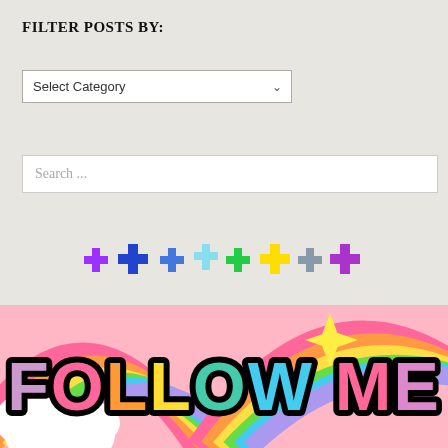FILTER POSTS BY:
Select Category (dropdown)
Search ...
[Figure (illustration): Row of colorful pixel-art cross/plus icons in purple, dark blue, blue, light blue, green, yellow, grey, and purple]
[Figure (illustration): Colorful rainbow banner image with bold outlined text reading FOLLOW ME in multicolored bubble letters on a rainbow stripe background with a yellow diamond sparkle shape]